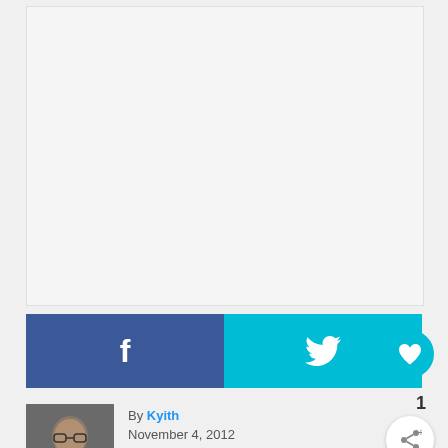[Figure (other): Large blank/white image area placeholder]
[Figure (other): Social sharing bar with Facebook (blue) and Twitter (cyan) buttons, and a heart/like button]
1
[Figure (photo): Author headshot photo of a person wearing glasses]
By Kyith
November 4, 2012